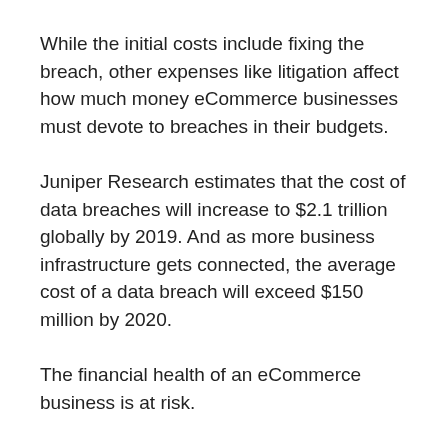While the initial costs include fixing the breach, other expenses like litigation affect how much money eCommerce businesses must devote to breaches in their budgets.
Juniper Research estimates that the cost of data breaches will increase to $2.1 trillion globally by 2019. And as more business infrastructure gets connected, the average cost of a data breach will exceed $150 million by 2020.
The financial health of an eCommerce business is at risk.
A Centrify report found a direct correlation between a data breach and stock decline. In the study, a company's share price index declines soon after a